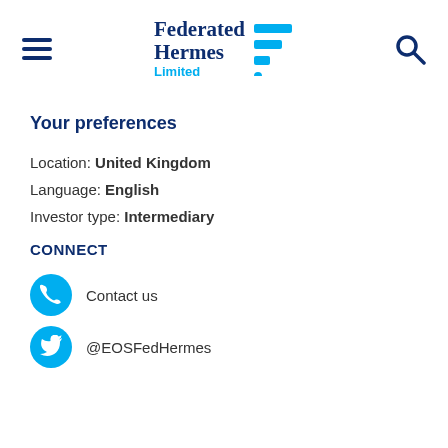[Figure (logo): Federated Hermes Limited logo with stacked bar icon on the right side of the text]
Your preferences
Location: United Kingdom
Language: English
Investor type: Intermediary
CONNECT
Contact us
@EOSFedHermes